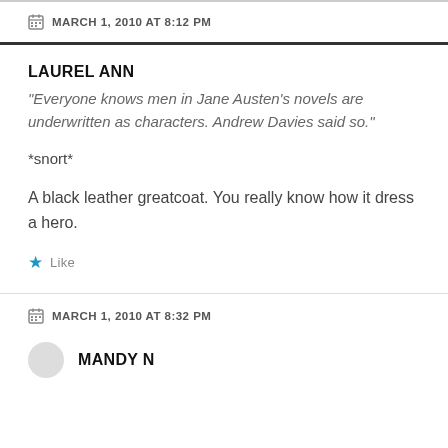MARCH 1, 2010 AT 8:12 PM
LAUREL ANN
“Everyone knows men in Jane Austen’s novels are underwritten as characters. Andrew Davies said so.”
*snort*
A black leather greatcoat. You really know how it dress a hero.
Like
MARCH 1, 2010 AT 8:32 PM
MANDY N